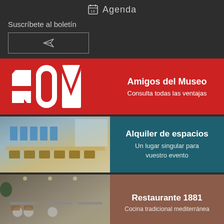Agenda
Suscríbete al boletín
[Figure (screenshot): Email subscribe input box with send/arrow icon]
[Figure (infographic): Red banner with SOM logo on left and 'Amigos del Museo / Consulta todas las ventajas' on right]
[Figure (infographic): Banner with conference room photo on left and 'Alquiler de espacios / Un lugar singular para vuestro evento' on teal right panel]
[Figure (infographic): Banner with restaurant photo on left and 'Restaurante 1881 / Cocina tradicional mediterránea' on brown right panel]